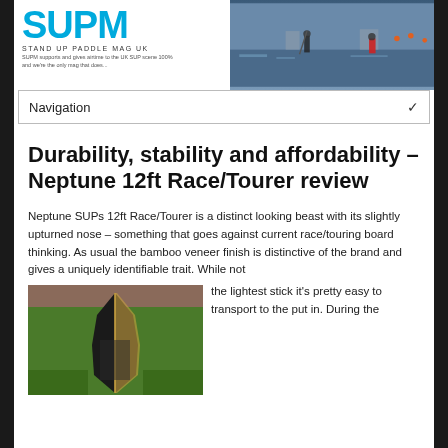[Figure (photo): SUPM (Stand Up Paddle Mag UK) website header with logo on left and photo of paddleboarders on water on right]
Navigation
Durability, stability and affordability – Neptune 12ft Race/Tourer review
Neptune SUPs 12ft Race/Tourer is a distinct looking beast with its slightly upturned nose – something that goes against current race/touring board thinking. As usual the bamboo veneer finish is distinctive of the brand and gives a uniquely identifiable trait. While not the lightest stick it's pretty easy to transport to the put in. During the
[Figure (photo): Close-up photo of a paddleboard nose/tip showing bamboo veneer finish on grass]